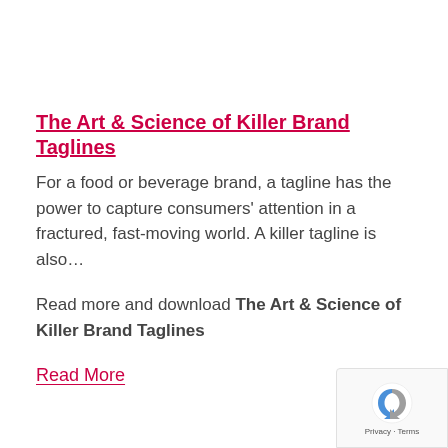The Art & Science of Killer Brand Taglines
For a food or beverage brand, a tagline has the power to capture consumers' attention in a fractured, fast-moving world. A killer tagline is also…
Read more and download The Art & Science of Killer Brand Taglines
Read More
[Figure (logo): Google reCAPTCHA badge with recycling-arrow icon and Privacy · Terms text]